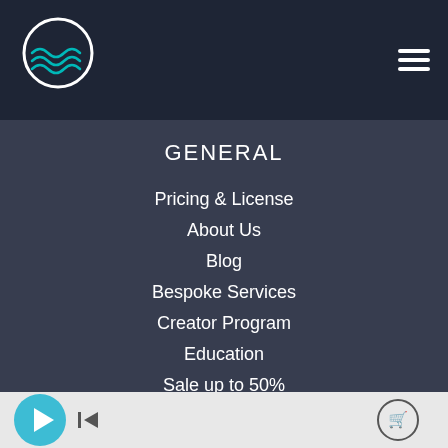WOW SOUND - Navigation Header
GENERAL
Pricing & License
About Us
Blog
Bespoke Services
Creator Program
Education
Sale up to 50%
Media player controls bar